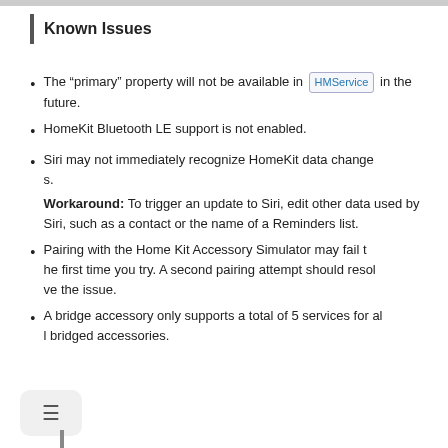Known Issues
The “primary” property will not be available in HMService in the future.
HomeKit Bluetooth LE support is not enabled.
Siri may not immediately recognize HomeKit data changes. Workaround: To trigger an update to Siri, edit other data used by Siri, such as a contact or the name of a Reminders list.
Pairing with the Home Kit Accessory Simulator may fail the first time you try. A second pairing attempt should resolve the issue.
A bridge accessory only supports a total of 5 services for all bridged accessories.